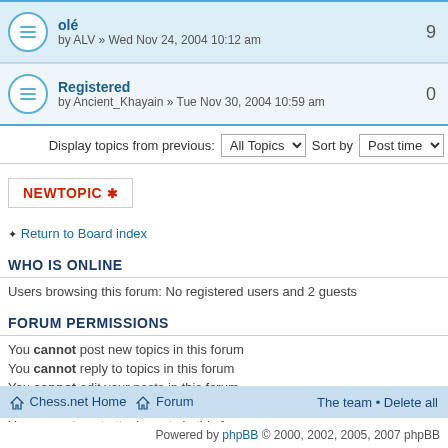olé — by ALV » Wed Nov 24, 2004 10:12 am — replies: 9
Registered — by Ancient_Khayain » Tue Nov 30, 2004 10:59 am — replies: 0
Display topics from previous: All Topics  Sort by  Post time
NEWTOPIC ✱
• Return to Board index
WHO IS ONLINE
Users browsing this forum: No registered users and 2 guests
FORUM PERMISSIONS
You cannot post new topics in this forum
You cannot reply to topics in this forum
You cannot edit your posts in this forum
You cannot delete your posts in this forum
You cannot post attachments in this forum
Chess.net Home  Forum    The team • Delete all
Powered by phpBB © 2000, 2002, 2005, 2007 phpBB